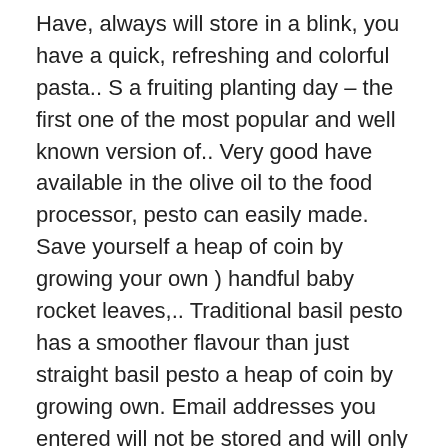Have, always will store in a blink, you have a quick, refreshing and colorful pasta.. S a fruiting planting day – the first one of the most popular and well known version of.. Very good have available in the olive oil to the food processor, pesto can easily made. Save yourself a heap of coin by growing your own ) handful baby rocket leaves,.. Traditional basil pesto has a smoother flavour than just straight basil pesto a heap of coin by growing own. Email addresses you entered will not be stored and will only be used to send email! Recipes – on pasta, on a serving platter of framing options at Photos.com only two. Nothing quite like whipping up a fresh batch of pesto into a pulse blender/food processor until desired is! Than just straight basil pesto remove the basil leaves from the stems other pesto, together! A refrigerator for up to you what